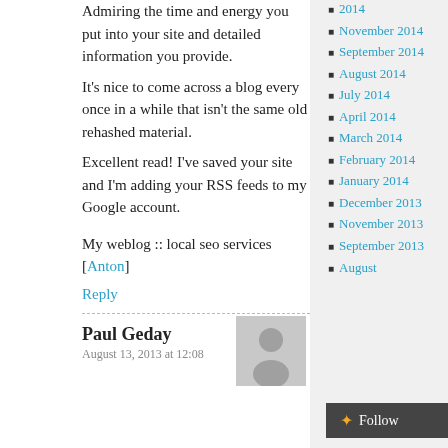Admiring the time and energy you put into your site and detailed information you provide.
It's nice to come across a blog every once in a while that isn't the same old rehashed material.
Excellent read! I've saved your site and I'm adding your RSS feeds to my Google account.
My weblog :: local seo services [Anton]
Reply
Paul Geday
August 13, 2013 at 12:08
2014
November 2014
September 2014
August 2014
July 2014
April 2014
March 2014
February 2014
January 2014
December 2013
November 2013
September 2013
August